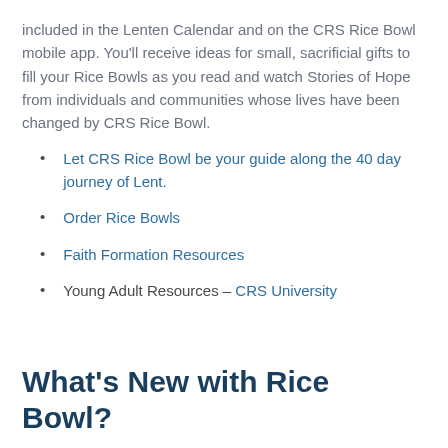included in the Lenten Calendar and on the CRS Rice Bowl mobile app. You'll receive ideas for small, sacrificial gifts to fill your Rice Bowls as you read and watch Stories of Hope from individuals and communities whose lives have been changed by CRS Rice Bowl.
Let CRS Rice Bowl be your guide along the 40 day journey of Lent.
Order Rice Bowls
Faith Formation Resources
Young Adult Resources – CRS University
What's New with Rice Bowl?